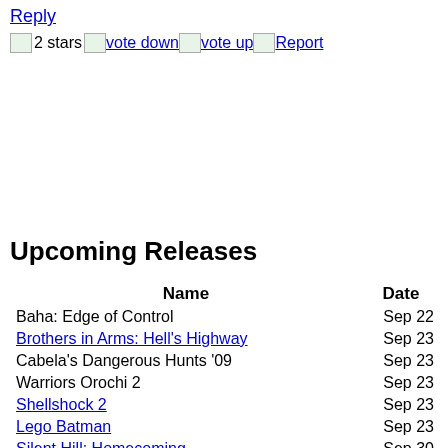Reply
2 stars  vote down  vote up  Report
Upcoming Releases
| Name | Date |
| --- | --- |
| Baha: Edge of Control | Sep 22 |
| Brothers in Arms: Hell's Highway | Sep 23 |
| Cabela's Dangerous Hunts '09 | Sep 23 |
| Warriors Orochi 2 | Sep 23 |
| Shellshock 2 | Sep 23 |
| Lego Batman | Sep 23 |
| Silent Hill: Homecoming | Sep 30 |